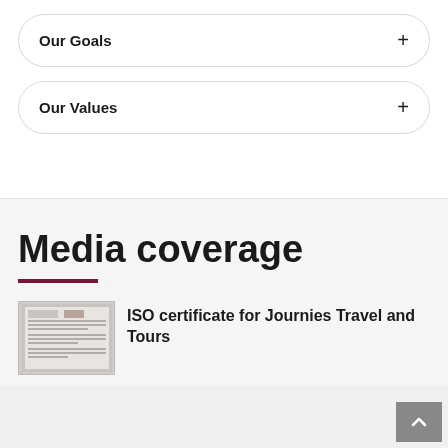Our Goals
Our Values
Media coverage
ISO certificate for Journies Travel and Tours